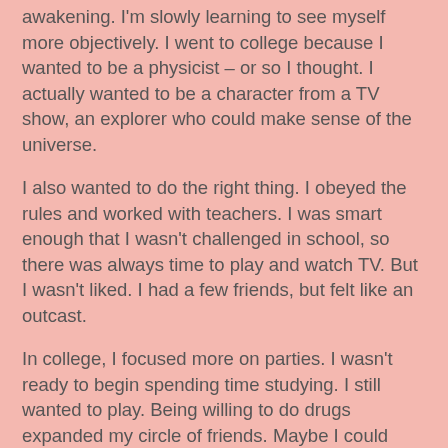awakening. I'm slowly learning to see myself more objectively. I went to college because I wanted to be a physicist – or so I thought. I actually wanted to be a character from a TV show, an explorer who could make sense of the universe.
I also wanted to do the right thing. I obeyed the rules and worked with teachers. I was smart enough that I wasn't challenged in school, so there was always time to play and watch TV. But I wasn't liked. I had a few friends, but felt like an outcast.
In college, I focused more on parties. I wasn't ready to begin spending time studying. I still wanted to play. Being willing to do drugs expanded my circle of friends. Maybe I could have got the physics degree, but it wasn't what I actually wanted – to be an explorer and servant. I wanted to be told what to do and have the skills to do it, to figure out what was going on, the truth behind the illusion.
I spent so many years trying to go back and get that degree, or something else closer to what I was looking for – but no course really matched what I was looking for in any...